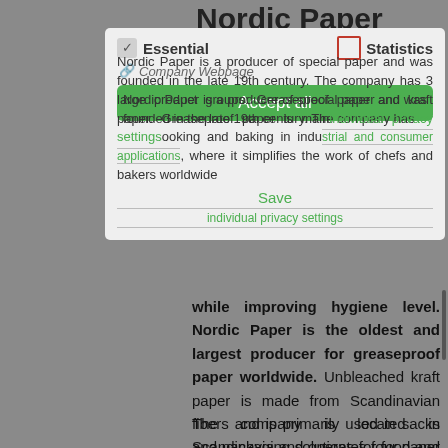Nordic Paper
Essential  Statistics  Company Webpage
Accept all
Nordic Paper is a producer of special paper and was founded in the late 19th century. The company has 3 large product groups: Greaseproof paper and kraft paper. Greaseproof paper is mainly used for cooking and baking in industrial and consumer applications, where it simplifies the work of chefs and bakers worldwide while improving hygiene level. Nordic Paper is the oldest and largest producer for greaseproof paper worldwide. Unbleached kraft paper is made from Scandinavian fibers and is primarily used in sacks and packaging solutions for food and non-food products as well as a wide range of commercial and industrial applications.
Save
Individual privacy settings
The company is located in Scandinavia and operates four paper and two pulp mills at four locations in Sweden and Norway. The key